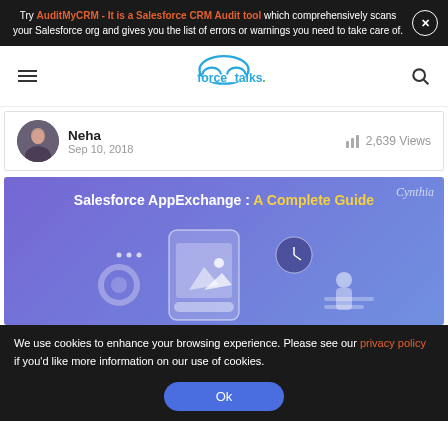Try AuditMyCRM - It is a Salesforce CRM Audit tool which comprehensively scans your Salesforce org and gives you the list of errors or warnings you need to take care of.
[Figure (logo): forcetalks. logo with cloud icon]
Neha
Sep 10, 2018
2,639 Views
[Figure (illustration): Salesforce AppExchange: A Complete Guide - purple/blue banner with phone and app icons illustration]
We use cookies to enhance your browsing experience. Please see our privacy policy if you'd like more information on our use of cookies.
Ok